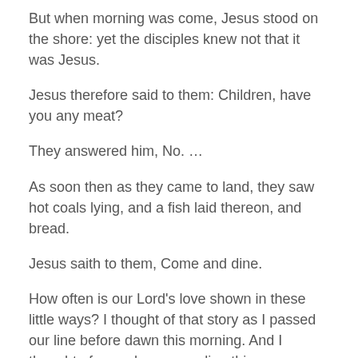But when morning was come, Jesus stood on the shore: yet the disciples knew not that it was Jesus.
Jesus therefore said to them: Children, have you any meat?
They answered him, No. …
As soon then as they came to land, they saw hot coals lying, and a fish laid thereon, and bread.
Jesus saith to them, Come and dine.
How often is our Lord's love shown in these little ways? I thought of that story as I passed our line before dawn this morning. And I thought of you who are reading this now. Please, won't you show your love for our Lord in your love for these His least children, and keep on helping us feed them?
St. Ignatius said that love is an exchange of gifts, so please now, at Christmas time, give to our Lord this way.